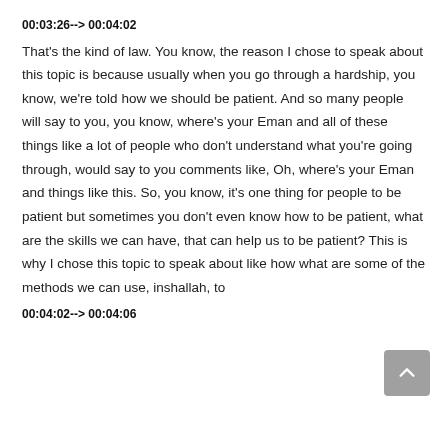00:03:26--> 00:04:02
That's the kind of law. You know, the reason I chose to speak about this topic is because usually when you go through a hardship, you know, we're told how we should be patient. And so many people will say to you, you know, where's your Eman and all of these things like a lot of people who don't understand what you're going through, would say to you comments like, Oh, where's your Eman and things like this. So, you know, it's one thing for people to be patient but sometimes you don't even know how to be patient, what are the skills we can have, that can help us to be patient? This is why I chose this topic to speak about like how what are some of the methods we can use, inshallah, to
00:04:02--> 00:04:06